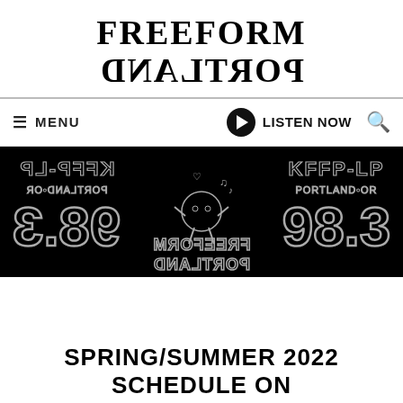FREEFORM PORTLAND
≡ MENU   ▶ LISTEN NOW  🔍
[Figure (illustration): Dark/black banner image with mirrored/reversed text graphics showing 'KFFP-LP PORTLAND OR 98.3' on both sides and a cartoon character in the center, all in a glowing neon-outline style on black background]
SPRING/SUMMER 2022 SCHEDULE ON